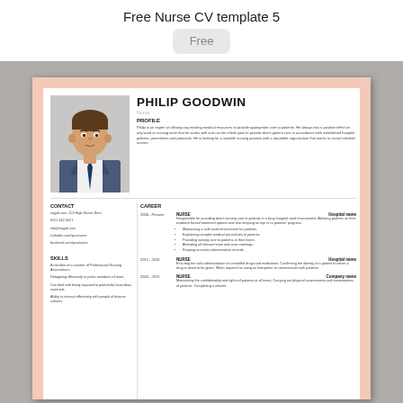Free Nurse CV template 5
Free
[Figure (illustration): Preview of a nurse CV template for Philip Goodwin showing a professional CV layout with salmon/peach border, photo, profile, contact, skills, and career sections]
PHILIP GOODWIN
Nurse
PROFILE
Philip is an expert at utilising any existing medical resources to provide appropriate care to patients. He always has a positive effect on any ward or nursing team that he works with and can be relied upon to provide direct patient care in accordance with established hospital policies, procedures and protocols. He is looking for a suitable nursing position with a reputable organisation that wants to recruit talented nurses.
CONTACT
myjob.com, 125 High Street, Birm
0121 642 6521
info@myjob.com
Linkedin.com/yourname
facebook.com/yourname
SKILLS
A member of a number of Professional Nursing Associations.
Delegating effectively to junior members of team.
Can deal with being exposed to potentially hazardous materials.
Ability to interact effectively with people of diverse cultures
CAREER
2006 - Present  NURSE  Hospital name
Responsible for providing direct nursing care to patients in a busy hospital ward environment. Advising patients on their evidence based treatment options and also keeping an eye on a patients' progress.
Maintaining a safe ward environment for patients.
Explaining complex medical procedures to patients.
Providing nursing care to patients at their home.
Attending all relevant team and case meetings.
Keeping accurate administrative records.
2015 - 2016  NURSE  Hospital name
Ensuring the safe administration of controlled drugs and medication. Confirming the identity of a patient to whom a drug is about to be given. When required so using an Interpreter to communicate with patients.
2004 - 2015  NURSE  Company name
Maintaining the confidentiality and rights of patients at all times. Carrying out physical assessments and examinations of patients. Completing a related